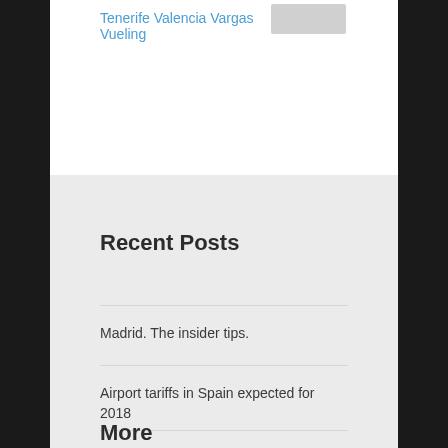Tenerife Valencia Vargas Vueling
Recent Posts
Madrid. The insider tips.
Airport tariffs in Spain expected for 2018
Enaire's en-route tariff will decrease 11.5% between 2018 and 2020
Aena will earn 40 million by eliminating incentives in 2017
More